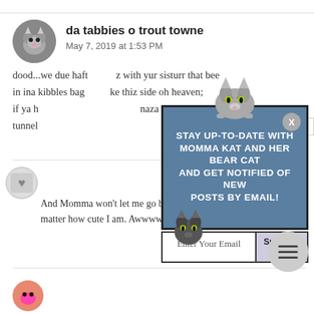da tabbies o trout towne
May 7, 2019 at 1:53 PM
dood...we due haft z with yur sisturr that bee in ina kibbles bag ke thiz side oh heaven; if ya h naza kibble tunnel
[Figure (screenshot): Email subscription popup overlay with cat illustration, reading: STAY UP-TO-DATE WITH MOMMA KAT AND HER BEAR CAT AND GET NOTIFIED OF NEW POSTS BY EMAIL! with Enter Your Email input and Subscribe button]
And Momma won't let me go bac matter how cute I am. Awwww! ~Ellie Mae